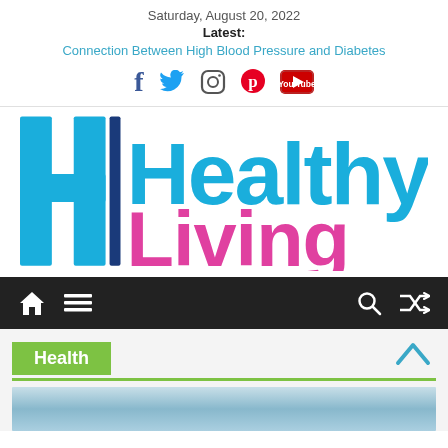Saturday, August 20, 2022
Latest:
Connection Between High Blood Pressure and Diabetes
[Figure (logo): Social media icons: Facebook, Twitter, Instagram, Pinterest, YouTube]
[Figure (logo): Healthy Living logo with large blue H, dark blue vertical bar, cyan 'Healthy' and magenta 'Living' text]
[Figure (infographic): Black navigation bar with home icon, hamburger menu, search icon, and shuffle icon]
Health
[Figure (photo): Bottom partial image in light blue tones]